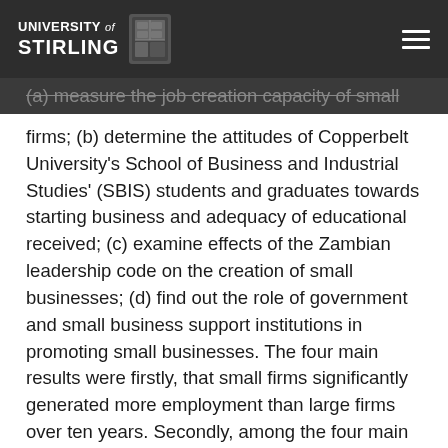UNIVERSITY of STIRLING
(a) measure the job creation capacity of small firms; (b) determine the attitudes of Copperbelt University's School of Business and Industrial Studies' (SBIS) students and graduates towards starting business and adequacy of educational received; (c) examine effects of the Zambian leadership code on the creation of small businesses; (d) find out the role of government and small business support institutions in promoting small businesses. The four main results were firstly, that small firms significantly generated more employment than large firms over ten years. Secondly, among the four main entrepreneurship theories discussed, Chells' environmental-situational-personal model, was more applicable to Zambia since no single model explained the process of entrepreneurship. This however demanded, 'inter alia', a high level of education and own capital. Thirdly, government's role in small business promotion, directly and through its agency (SIDO), was practically negligible and to